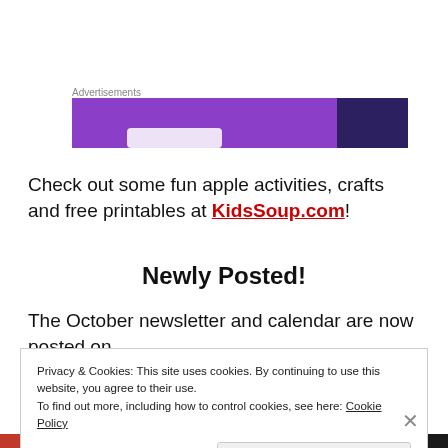Advertisements
[Figure (other): Advertisement banner with purple gradient background]
Check out some fun apple activities, crafts and free printables at KidsSoup.com!
Newly Posted!
The October newsletter and calendar are now posted on
Privacy & Cookies: This site uses cookies. By continuing to use this website, you agree to their use. To find out more, including how to control cookies, see here: Cookie Policy
Close and accept